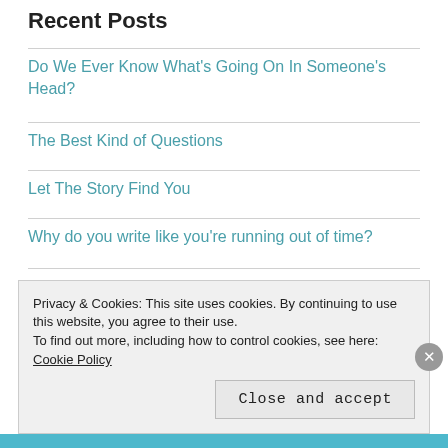Recent Posts
Do We Ever Know What's Going On In Someone's Head?
The Best Kind of Questions
Let The Story Find You
Why do you write like you're running out of time?
A Halloween Night Out
Privacy & Cookies: This site uses cookies. By continuing to use this website, you agree to their use. To find out more, including how to control cookies, see here: Cookie Policy
Close and accept